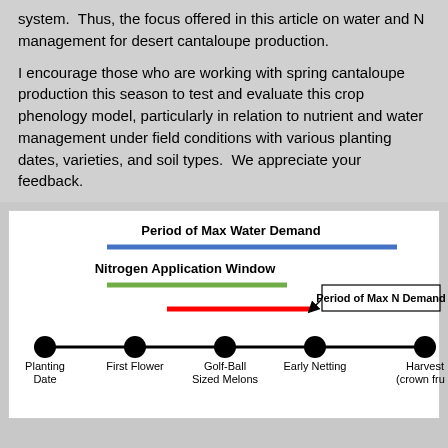system.  Thus, the focus offered in this article on water and N management for desert cantaloupe production.
I encourage those who are working with spring cantaloupe production this season to test and evaluate this crop phenology model, particularly in relation to nutrient and water management under field conditions with various planting dates, varieties, and soil types.  We appreciate your feedback.
[Figure (infographic): Timeline diagram showing cantaloupe crop growth stages with colored bars indicating Period of Max Water Demand (blue bar), Nitrogen Application Window (green bar), and Period of Max N Demand (red bar, with arrow label). Bottom timeline has dots at: Planting Date, First Flower, Golf-Ball Sized Melons, Early Netting, Harvest (crown fruit).]